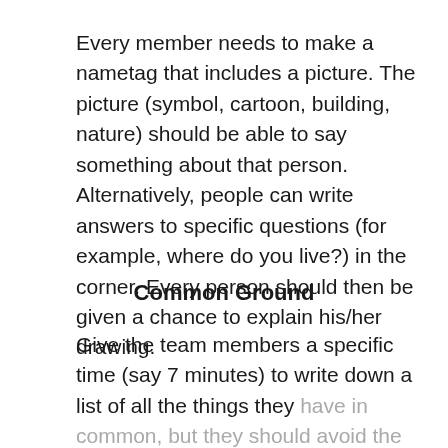Every member needs to make a nametag that includes a picture. The picture (symbol, cartoon, building, nature) should be able to say something about that person. Alternatively, people can write answers to specific questions (for example, where do you live?) in the corner. Every person should then be given a chance to explain his/her drawing.
Common Ground
Give the team members a specific time (say 7 minutes) to write down a list of all the things they have in common, but they should avoid the obvious. Once the time elapses, each group should disclose